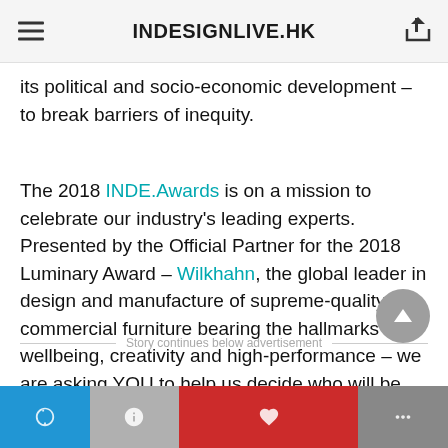INDESIGNLIVE.HK
its political and socio-economic development – to break barriers of inequity.
The 2018 INDE.Awards is on a mission to celebrate our industry's leading experts. Presented by the Official Partner for the 2018 Luminary Award – Wilkhahn, the global leader in design and manufacture of supreme-quality commercial furniture bearing the hallmarks of wellbeing, creativity and high-performance – we are asking YOU to help us decide who will be crowned your 2018 People's Choice Luminary.
Story continues below advertisement